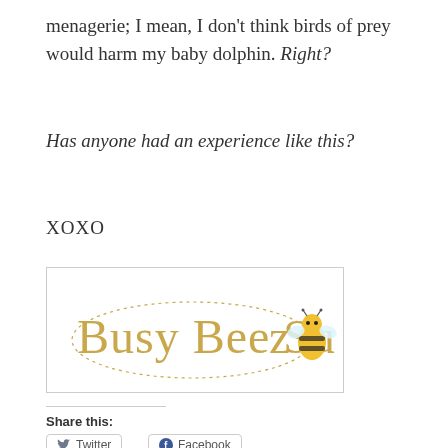menagerie; I mean, I don't think birds of prey would harm my baby dolphin. Right?
Has anyone had an experience like this?
XOXO
[Figure (logo): Busy Bee Suz logo with cursive golden text and cartoon bee icon, surrounded by dotted ellipse]
Share this:
Twitter
Facebook
Like